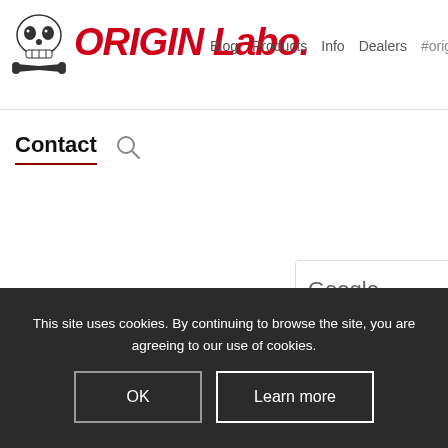[Figure (logo): ORIGIN Labo. logo with skull and crossbones icon in red and black italic text]
Blog  Products  Info  Dealers  #originlab
Contact
[Figure (screenshot): Google error iframe: 'Google' heading, 'This page can't load Goo...' error message, and 'Do you own this website?' sub-box]
This site uses cookies. By continuing to browse the site, you are agreeing to our use of cookies.
OK   Learn more